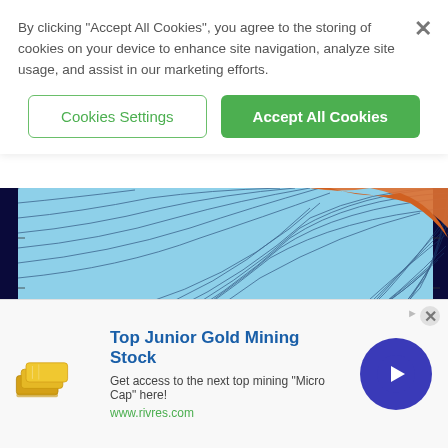By clicking “Accept All Cookies”, you agree to the storing of cookies on your device to enhance site navigation, analyze site usage, and assist in our marketing efforts.
Cookies Settings
Accept All Cookies
[Figure (map): Partial view of a tectonic/bathymetric map showing ocean floor contour lines in light blue with an orange landmass visible in the upper right corner, on a dark navy background.]
[Figure (map): Thumbnail: Tectonic Map of Te Riu-a-Maui / Zealandia with GNS Science logo]
[Figure (schematic): Thumbnail: Geological cross-section or stratigraphic column diagram with colored zones (orange, red, blue)]
[Figure (other): Thumbnail: Document page with text and table content]
[Figure (advertisement): Ad banner: Top Junior Gold Mining Stock. Image of gold bars on left. Text: Get access to the next top mining "Micro Cap" here! www.rivres.com. Purple circle with right arrow. Close button.]